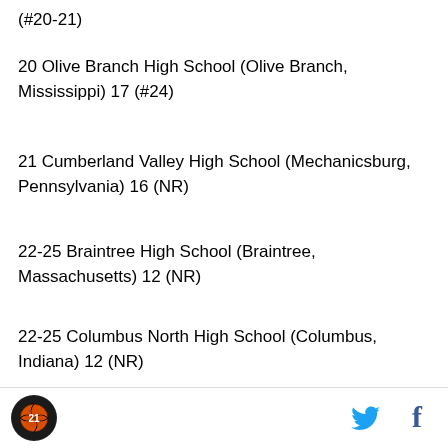(#20-21)
20 Olive Branch High School (Olive Branch, Mississippi) 17 (#24)
21 Cumberland Valley High School (Mechanicsburg, Pennsylvania) 16 (NR)
22-25 Braintree High School (Braintree, Massachusetts) 12 (NR)
22-25 Columbus North High School (Columbus, Indiana) 12 (NR)
22-25 Lawrence North High School (Indianapolis, Indiana) 12 (#12)